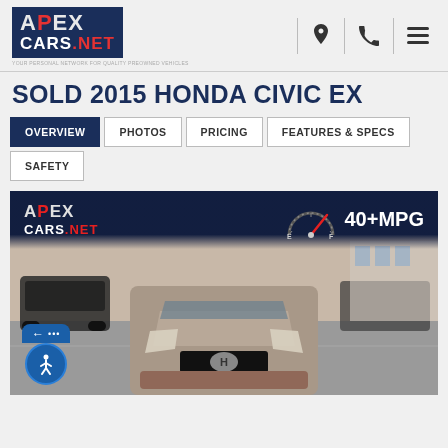APEX CARS.NET — YOUR PERSONAL NETWORK FOR QUALITY PREOWNED VEHICLES
SOLD 2015 HONDA CIVIC EX
OVERVIEW
PHOTOS
PRICING
FEATURES & SPECS
SAFETY
[Figure (photo): Front view of a 2015 Honda Civic EX in a parking lot, silver/grey color, with APEX CARS.NET logo overlay and 40+MPG badge in the top banner area of the image]